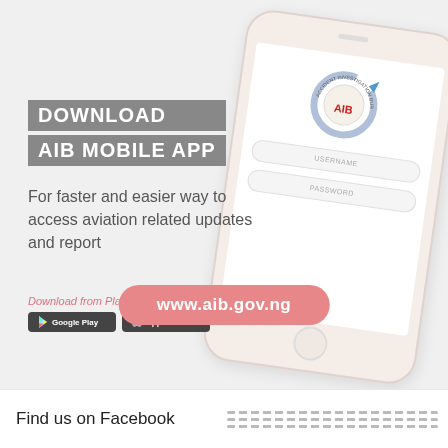[Figure (infographic): AIB Mobile App advertisement banner showing a smartphone with AIB logo, username/password fields, download buttons for Google Play and App Store, and website URL pill button on a light gray background]
DOWNLOAD AIB MOBILE APP
For faster and easier way to access aviation related updates and report
Download from Playstore
www.aib.gov.ng
Find us on Facebook